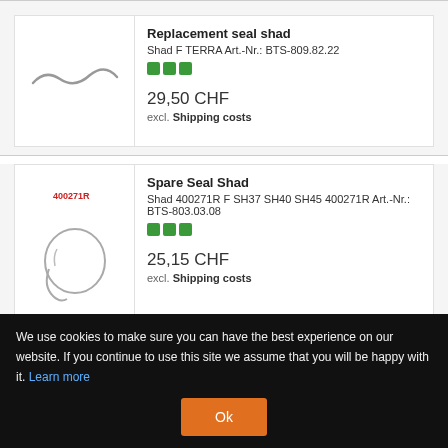[Figure (photo): Wavy seal/gasket product image for Replacement seal shad]
Replacement seal shad
Shad F TERRA Art.-Nr.: BTS-809.82.22
29,50 CHF
excl. Shipping costs
[Figure (photo): Spare seal ring with product code 400271R label]
Spare Seal Shad
Shad 400271R F SH37 SH40 SH45 400271R Art.-Nr.: BTS-803.03.08
25,15 CHF
excl. Shipping costs
more spare lid seal
We use cookies to make sure you can have the best experience on our website. If you continue to use this site we assume that you will be happy with it. Learn more
Ok